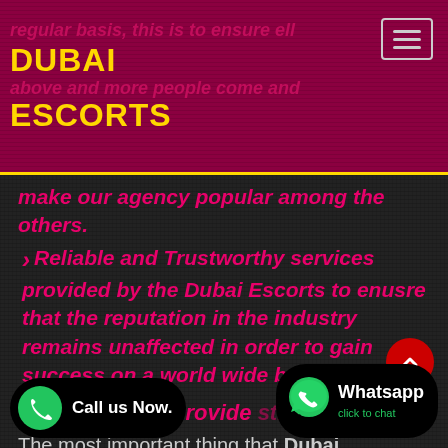DUBAI ESCORTS
make our agency popular among the others.
Reliable and Trustworthy services provided by the Dubai Escorts to enusre that the reputation in the industry remains unaffected in order to gain success on a world wide basis.
Dubai Escorts provide structure
The most important thing that Dubai